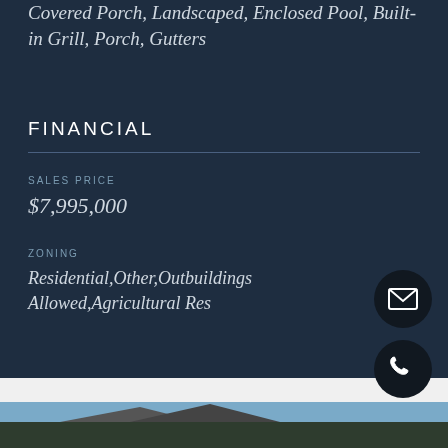Covered Porch, Landscaped, Enclosed Pool, Built-in Grill, Porch, Gutters
FINANCIAL
SALES PRICE
$7,995,000
ZONING
Residential,Other,Outbuildings Allowed,Agricultural Res
[Figure (other): Email contact icon button (envelope icon on dark circular background)]
[Figure (other): Phone contact icon button (phone icon on dark circular background)]
[Figure (photo): Partial photo of a building roofline against a blue sky, visible at the bottom of the page]